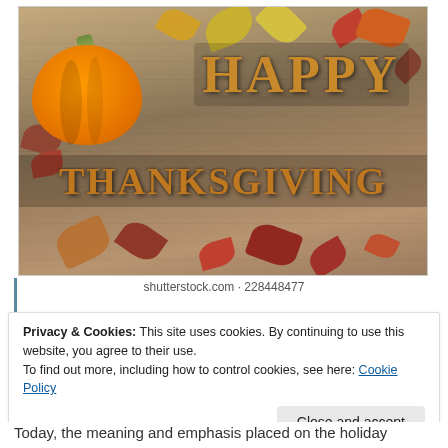[Figure (photo): Happy Thanksgiving photo with a pumpkin, autumn leaves, and wooden block letters spelling 'HAPPY THANKSGIVING' on a wood plank background]
shutterstock.com · 228448477
Privacy & Cookies: This site uses cookies. By continuing to use this website, you agree to their use.
To find out more, including how to control cookies, see here: Cookie Policy
Close and accept
Today, the meaning and emphasis placed on the holiday